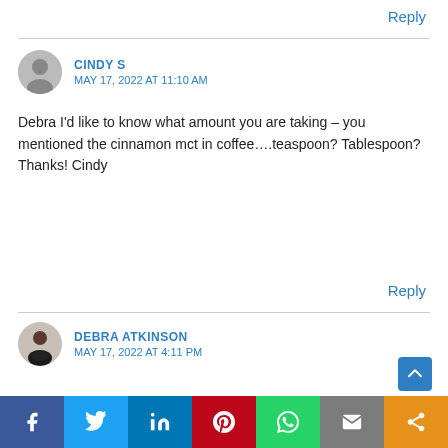Reply
CINDY S
MAY 17, 2022 AT 11:10 AM
Debra I'd like to know what amount you are taking – you mentioned the cinnamon mct in coffee....teaspoon? Tablespoon? Thanks! Cindy
Reply
DEBRA ATKINSON
MAY 17, 2022 AT 4:11 PM